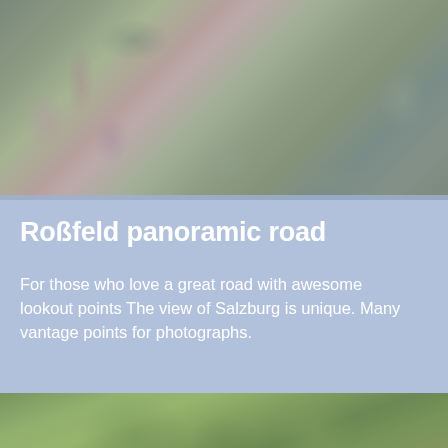[Figure (photo): Garden/floral scene with pink and purple flowers and green foliage, slightly faded/overlaid with blue-grey tint]
Roßfeld panoramic road
For those who love a great road with awesome lookout points The view of Salzburg is unique. Many vantage points for photographs.
MEHR INFOS
[Figure (photo): Green tree canopy/forest scene visible at bottom of page]